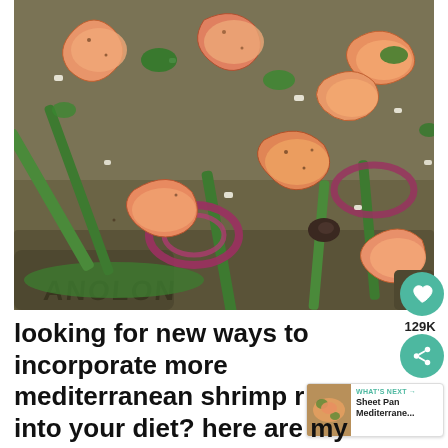[Figure (photo): A sheet pan (branded 'Anolon') loaded with cooked shrimp, asparagus, red onion slices, olives, crumbled feta cheese, and fresh parsley — a Mediterranean shrimp sheet pan dish.]
looking for new ways to incorporate more mediterranean shrimp recipes into your diet? here are my favorites